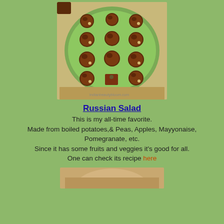[Figure (photo): Photo of Russian Salad balls arranged on a green oval plate, showing small round brown balls with visible ingredients, watermarked with indianbeautybloom.com]
Russian Salad
This is my all-time favorite.
Made from boiled potatoes,& Peas, Apples, Mayyonaise, Pomegranate, etc.
Since it has some fruits and veggies it’s good for all.
One can check its recipe here
[Figure (photo): Partial view of another food photo at the bottom of the page]